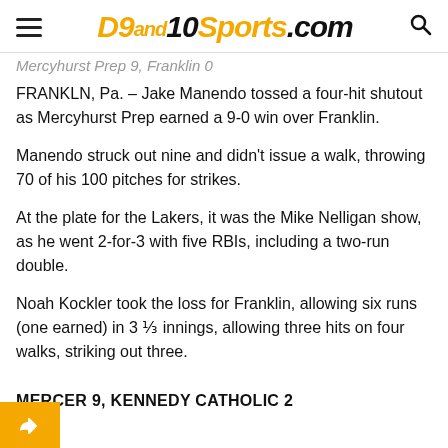D9and10Sports.com
Mercyhurst Prep 9, Franklin 0
FRANKLN, Pa. – Jake Manendo tossed a four-hit shutout as Mercyhurst Prep earned a 9-0 win over Franklin.
Manendo struck out nine and didn't issue a walk, throwing 70 of his 100 pitches for strikes.
At the plate for the Lakers, it was the Mike Nelligan show, as he went 2-for-3 with five RBIs, including a two-run double.
Noah Kockler took the loss for Franklin, allowing six runs (one earned) in 3 ⅓ innings, allowing three hits on four walks, striking out three.
MERCER 9, KENNEDY CATHOLIC 2